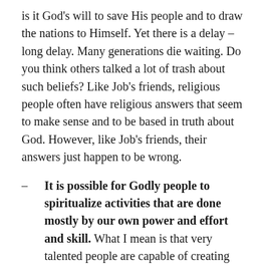is it God's will to save His people and to draw the nations to Himself. Yet there is a delay – long delay. Many generations die waiting. Do you think others talked a lot of trash about such beliefs? Like Job's friends, religious people often have religious answers that seem to make sense and to be based in truth about God. However, like Job's friends, their answers just happen to be wrong.
– It is possible for Godly people to spiritualize activities that are done mostly by our own power and effort and skill. What I mean is that very talented people are capable of creating impact, even godly impact, without much dependence on God. I'm not about to point fingers or name names, because I understand that it is